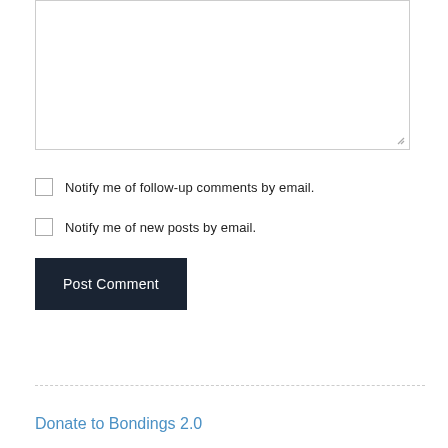[Figure (screenshot): Empty textarea input box with resize handle at bottom-right corner]
Notify me of follow-up comments by email.
Notify me of new posts by email.
Post Comment
Donate to Bondings 2.0